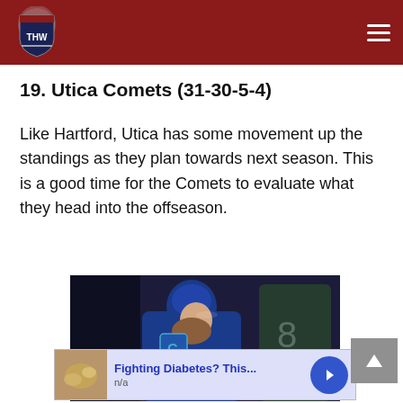THW Hockey Writers - navigation header
19. Utica Comets (31-30-5-4)
Like Hartford, Utica has some movement up the standings as they plan towards next season. This is a good time for the Comets to evaluate what they head into the offseason.
[Figure (photo): Hockey player wearing blue Utica Comets jersey with number 13, looking to the side during a game]
[Figure (photo): Advertisement banner: Fighting Diabetes? This... n/a, with thumbnail of food image and blue arrow button]